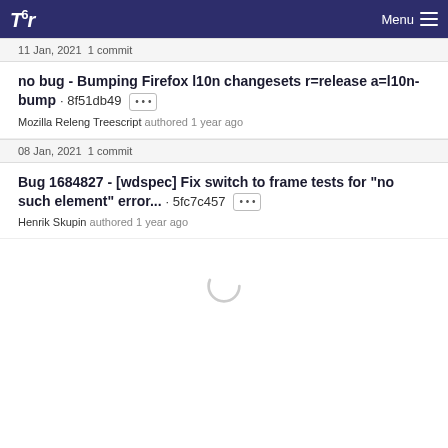Tor  Menu
11 Jan, 2021 1 commit
no bug - Bumping Firefox l10n changesets r=release a=l10n-bump · 8f51db49 [...]
Mozilla Releng Treescript authored 1 year ago
08 Jan, 2021 1 commit
Bug 1684827 - [wdspec] Fix switch to frame tests for "no such element" error... · 5fc7c457 [...]
Henrik Skupin authored 1 year ago
[Figure (other): Loading spinner (circular arc indicating content loading)]